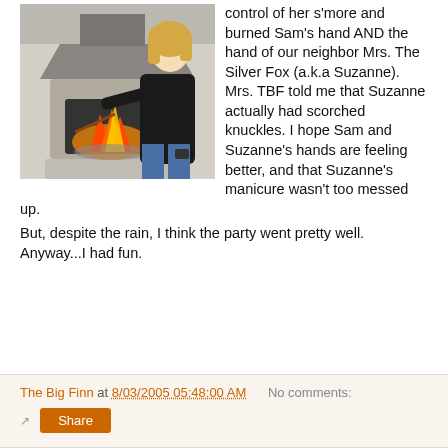[Figure (photo): A woman with blonde hair wearing a black jacket and jeans reaches toward an outdoor fireplace/chiminea with a roaring fire inside, holding a roasting stick with a s'more. The fireplace is made of concrete/stone with a metal hood.]
control of her s'more and burned Sam's hand AND the hand of our neighbor Mrs. The Silver Fox (a.k.a Suzanne). Mrs. TBF told me that Suzanne actually had scorched knuckles. I hope Sam and Suzanne's hands are feeling better, and that Suzanne's manicure wasn't too messed up.
But, despite the rain, I think the party went pretty well. Anyway...I had fun.
The Big Finn at 8/03/2005 05:48:00 AM   No comments: Share